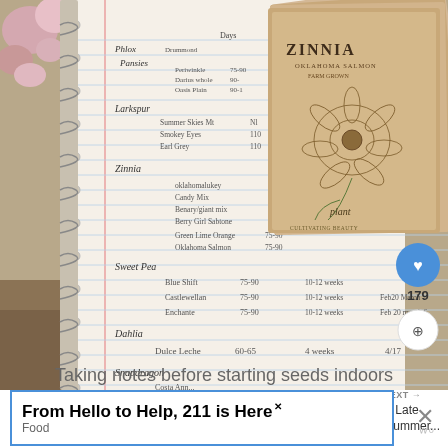[Figure (photo): Photo of an open spiral-bound notebook with handwritten planting notes listing flower varieties (Zinnia, Sweet Pea, Dahlia, Snapdragon, Larkspur) with days-to-maturity numbers, alongside a stack of kraft paper seed packets with a ZINNIA label visible on top, and flowers/garden soil visible in the background.]
Taking notes before starting seeds indoors
From Hello to Help, 211 is Here
Food